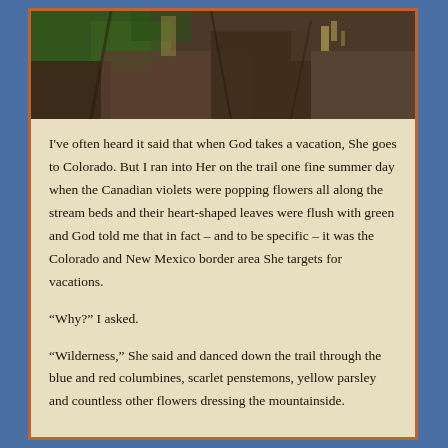[Figure (photo): Outdoor photograph showing rocky cliff face with dark stone, sparse green vegetation, and natural rock textures in a mountainous landscape.]
I've often heard it said that when God takes a vacation, She goes to Colorado. But I ran into Her on the trail one fine summer day when the Canadian violets were popping flowers all along the stream beds and their heart-shaped leaves were flush with green and God told me that in fact – and to be specific – it was the Colorado and New Mexico border area She targets for vacations.
“Why?” I asked.
“Wilderness,” She said and danced down the trail through the blue and red columbines, scarlet penstemons, yellow parsley and countless other flowers dressing the mountainside.